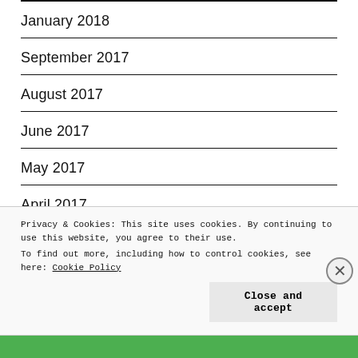January 2018
September 2017
August 2017
June 2017
May 2017
April 2017
Privacy & Cookies: This site uses cookies. By continuing to use this website, you agree to their use.
To find out more, including how to control cookies, see here: Cookie Policy
Close and accept